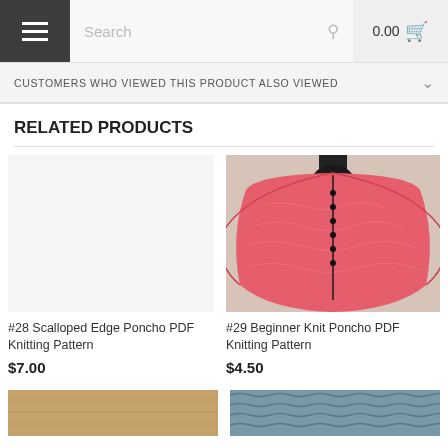Search  0.00
CUSTOMERS WHO VIEWED THIS PRODUCT ALSO VIEWED
RELATED PRODUCTS
[Figure (photo): Pink knit poncho on a black mannequin stand, back view showing center seam detail]
#28 Scalloped Edge Poncho PDF Knitting Pattern
$7.00
#29 Beginner Knit Poncho PDF Knitting Pattern
$4.50
[Figure (photo): Partial product image with tan/golden background at bottom left]
[Figure (photo): Partial product image with blue/teal knit texture at bottom right]